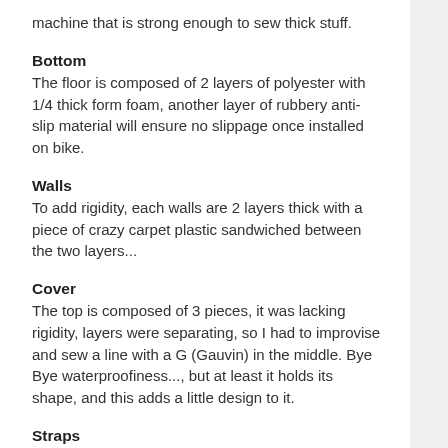machine that is strong enough to sew thick stuff.
Bottom
The floor is composed of 2 layers of polyester with 1/4 thick form foam, another layer of rubbery anti-slip material will ensure no slippage once installed on bike.
Walls
To add rigidity, each walls are 2 layers thick with a piece of crazy carpet plastic sandwiched between the two layers...
Cover
The top is composed of 3 pieces, it was lacking rigidity, layers were separating, so I had to improvise and sew a line with a G (Gauvin) in the middle. Bye Bye waterproofiness..., but at least it holds its shape, and this adds a little design to it.
Straps
I used small plastic 1/2" straps holders with D shape rings to secure the bag, this works quite well. 🙂
Sewing